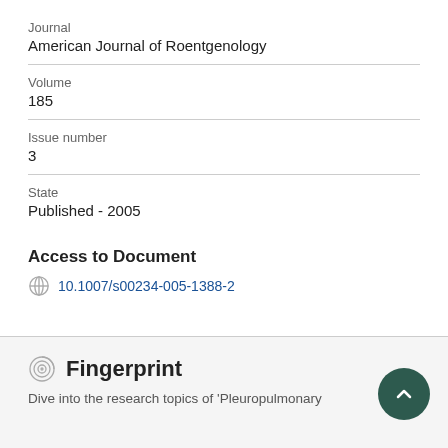Journal
American Journal of Roentgenology
Volume
185
Issue number
3
State
Published - 2005
Access to Document
10.1007/s00234-005-1388-2
Fingerprint
Dive into the research topics of 'Pleuropulmonary